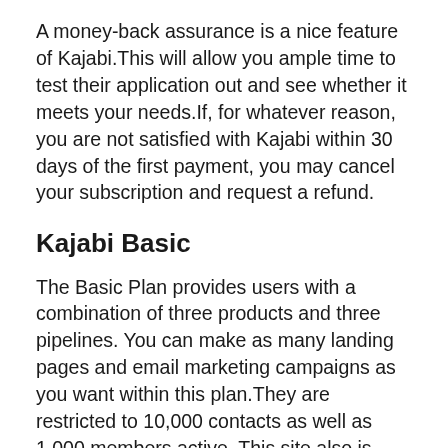A money-back assurance is a nice feature of Kajabi.This will allow you ample time to test their application out and see whether it meets your needs.If, for whatever reason, you are not satisfied with Kajabi within 30 days of the first payment, you may cancel your subscription and request a refund.
Kajabi Basic
The Basic Plan provides users with a combination of three products and three pipelines. You can make as many landing pages and email marketing campaigns as you want within this plan.They are restricted to 10,000 contacts as well as 1,000 members active. This site also is accessible